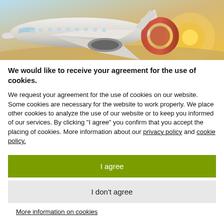[Figure (photo): Photograph of a commercial airplane on the ground at sunset with warm golden light and blue sky background]
We would like to receive your agreement for the use of cookies.
We request your agreement for the use of cookies on our website. Some cookies are necessary for the website to work properly. We place other cookies to analyze the use of our website or to keep you informed of our services. By clicking "I agree" you confirm that you accept the placing of cookies. More information about our privacy policy and cookie policy.
I agree
I don't agree
More information on cookies